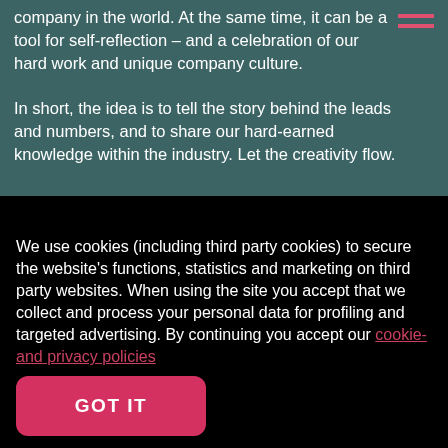company in the world. At the same time, it can be a tool for self-reflection – and a celebration of our hard work and unique company culture.
In short, the idea is to tell the story behind the leads and numbers, and to share our hard-earned knowledge within the industry. Let the creativity flow.
We use cookies (including third party cookies) to secure the website's functions, statistics and marketing on third party websites. When using the site you accept that we collect and process your personal data for profiling and targeted advertising. By continuing you accept our cookie- and privacy policies
GOT IT